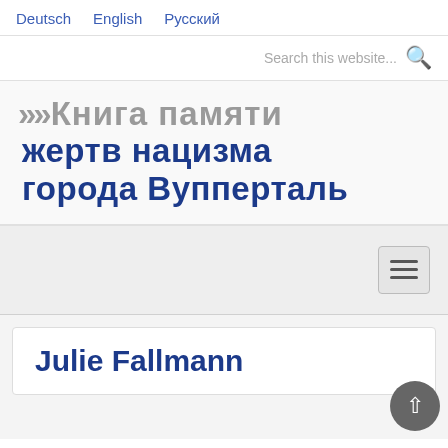Deutsch   English   Русский
Search this website...
>> Книга памяти жертв нацизма города Вупперталь
[Figure (other): Hamburger menu toggle button with three horizontal lines]
Julie Fallmann